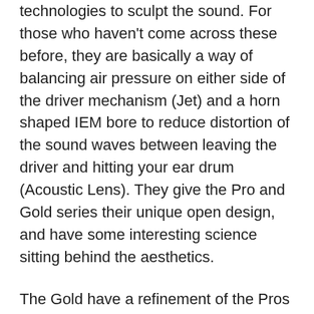technologies to sculpt the sound. For those who haven't come across these before, they are basically a way of balancing air pressure on either side of the driver mechanism (Jet) and a horn shaped IEM bore to reduce distortion of the sound waves between leaving the driver and hitting your ear drum (Acoustic Lens). They give the Pro and Gold series their unique open design, and have some interesting science sitting behind the aesthetics.
The Gold have a refinement of the Pros open-at-both-ends design, using a slightly thicker barrel with a more open rear port and a ribbed rather than bevelled finish. Looking in to either barrel, you can see the wiring at the back of the driver or the front wall of the driver casing respectively, without any mesh or gauze in the way. It's pretty cool, but also a reminder to treat these IEMs with a little care, is it